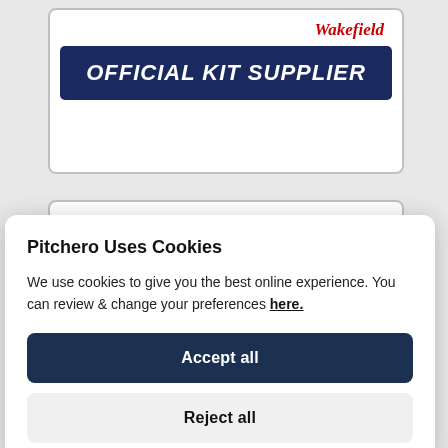[Figure (logo): Wakefield Official Kit Supplier logo — white box with 'Wakefield' in red italic text top right and dark navy blue banner reading 'OFFICIAL KIT SUPPLIER' in white bold italic.]
[Figure (logo): Kick It Out logo — green parallelogram shape with 'KICK IT OUT' text (KICK in white, IT in yellow, OUT in black) and subtitle 'TACKLING RACISM & DISCRIMINATION'.]
Pitchero Uses Cookies
We use cookies to give you the best online experience. You can review & change your preferences here.
Accept all
Reject all